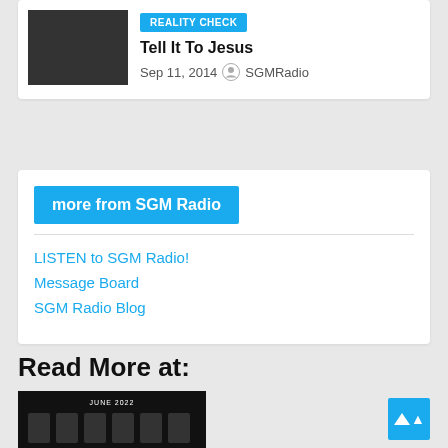[Figure (photo): Dark thumbnail image for article]
REALITY CHECK
Tell It To Jesus
Sep 11, 2014  SGMRadio
more from SGM Radio
LISTEN to SGM Radio!
Message Board
SGM Radio Blog
Read More at:
[Figure (photo): Dark image with text JUNE 2022 and decorative graphics]